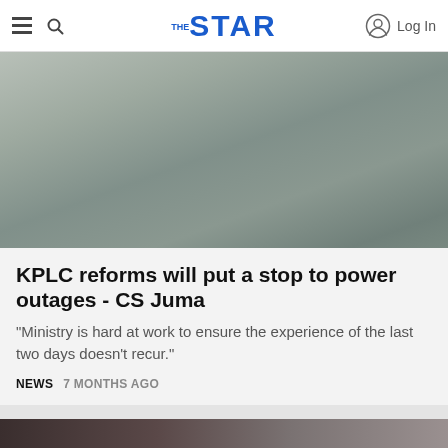THE STAR — Log In
[Figure (photo): Blurred outdoor photo with grey-green tones, likely showing an outdoor scene.]
KPLC reforms will put a stop to power outages - CS Juma
"Ministry is hard at work to ensure the experience of the last two days doesn't recur."
NEWS   7 MONTHS AGO
[Figure (photo): Partially visible second article image at bottom of page.]